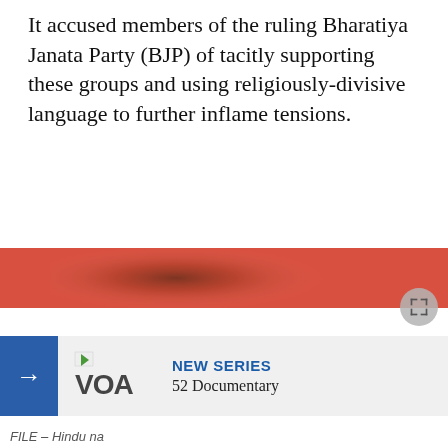It accused members of the ruling Bharatiya Janata Party (BJP) of tacitly supporting these groups and using religiously-divisive language to further inflame tensions.
[Figure (photo): Blurred/redacted image with red-orange tones, likely showing a person or scene related to Hindu nationalist groups. An expand/fullscreen button is visible at the lower right.]
[Figure (screenshot): Navigation bar showing a blue arrow button, VOA logo, 'NEW SERIES' label in blue, and '52 Documentary' text on a light gray background.]
FILE – Hindu na